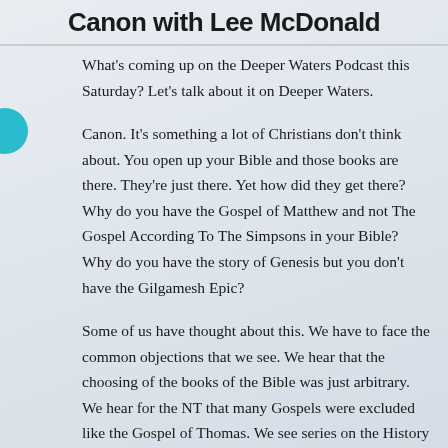Canon with Lee McDonald
What's coming up on the Deeper Waters Podcast this Saturday? Let's talk about it on Deeper Waters.
Canon. It's something a lot of Christians don't think about. You open up your Bible and those books are there. They're just there. Yet how did they get there? Why do you have the Gospel of Matthew and not The Gospel According To The Simpsons in your Bible? Why do you have the story of Genesis but you don't have the Gilgamesh Epic?
Some of us have thought about this. We have to face the common objections that we see. We hear that the choosing of the books of the Bible was just arbitrary. We hear for the NT that many Gospels were excluded like the Gospel of Thomas. We see series on the History Channel like “Banned From The Bible.” We also hear today commonly on the internet that all the books of the Bible were chosen at the Council of Nicea in